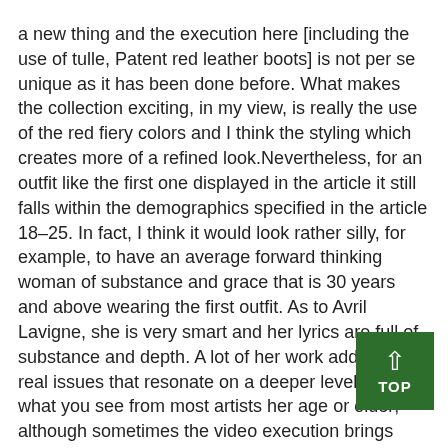a new thing and the execution here [including the use of tulle, Patent red leather boots] is not per se unique as it has been done before. What makes the collection exciting, in my view, is really the use of the red fiery colors and I think the styling which creates more of a refined look.Nevertheless, for an outfit like the first one displayed in the article it still falls within the demographics specified in the article 18–25. In fact, I think it would look rather silly, for example, to have an average forward thinking woman of substance and grace that is 30 years and above wearing the first outfit. As to Avril Lavigne, she is very smart and her lyrics are full of substance and depth. A lot of her work addresses real issues that resonate on a deeper level than what you see from most artists her age or older; although sometimes the video execution brings more of the gothic dark feel to her work.Even more specifically, in many Avril Lavigne videos and when she is out and about, it is common to see her styled in similar plaid themed and argyle/knee high socks. Example videos includ 'Complicated,'she has a plaid red tie, 'Happy endin has that full red tulle skirt.Cheers,Uduak